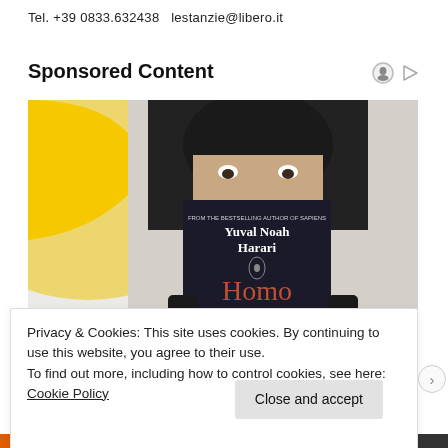Tel. +39 0833.632438  lestanzie@libero.it
Sponsored Content
[Figure (photo): Person holding a dark-covered book titled 'Homo Deus' by Yuval Noah Harari in front of their face, against a yellow and white background.]
Privacy & Cookies: This site uses cookies. By continuing to use this website, you agree to their use.
To find out more, including how to control cookies, see here: Cookie Policy
Close and accept